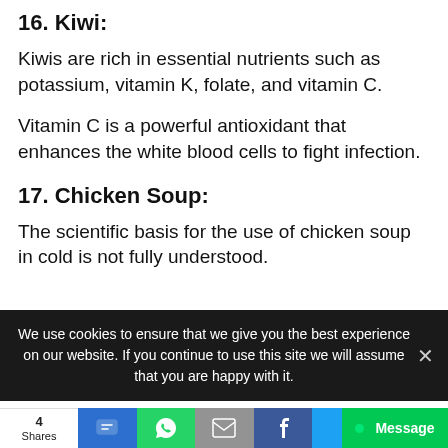16. Kiwi:
Kiwis are rich in essential nutrients such as potassium, vitamin K, folate, and vitamin C.
Vitamin C is a powerful antioxidant that enhances the white blood cells to fight infection.
17. Chicken Soup:
The scientific basis for the use of chicken soup in cold is not fully understood.
We use cookies to ensure that we give you the best experience on our website. If you continue to use this site we will assume that you are happy with it.